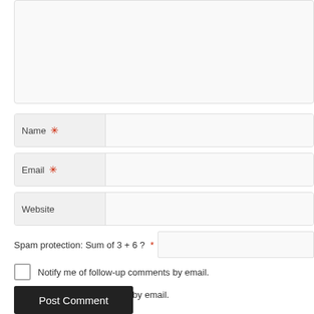[Figure (screenshot): A web comment form with a textarea (partially visible at top), Name, Email, Website fields with required markers, a spam protection math question field, two checkboxes for email notification, and a Post Comment button.]
Name *
Email *
Website
Spam protection: Sum of 3 + 6 ? *
Notify me of follow-up comments by email.
Notify me of new posts by email.
Post Comment